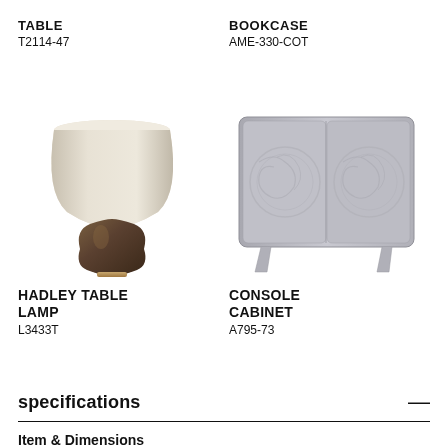TABLE
T2114-47
BOOKCASE
AME-330-COT
[Figure (photo): A table lamp with a round drum-shaped beige/cream shade and a dark bronze/brown gourd-shaped ceramic base with a small round wooden foot.]
[Figure (photo): A light grey console cabinet with two doors featuring circular raised relief pattern, rounded corners, and tapered legs.]
HADLEY TABLE LAMP
L3433T
CONSOLE CABINET
A795-73
specifications
Item & Dimensions